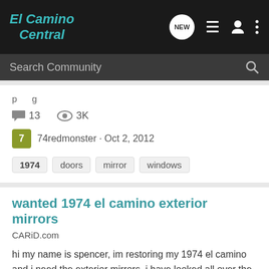El Camino Central
Search Community
13 comments  3K views  74redmonster · Oct 2, 2012  Tags: 1974, doors, mirror, windows
wanted 1974 el camino exterior mirrors
CARiD.com
hi my name is spencer, im restoring my 1974 el camino and i need the exterior mirrors, i have looked all over the internet and could not find any site that deals 3rd gen exterior mirrors. if anyone knows a site or is parting out a 1974 (or an elcamino with compatible mirrors) please let me know...
2 comments  2K views